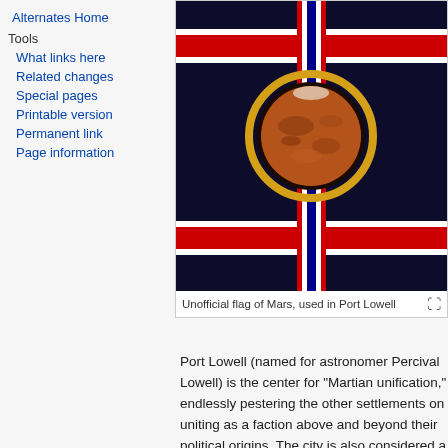Alternates Home
Tools
What links here
Related changes
Special pages
Printable version
Permanent link
Page information
[Figure (illustration): Unofficial flag of Mars: dark navy background with horizontal red and white stripes and a vertical red-white-blue stripe, with a gold-ringed globe showing Mars in the center.]
Unofficial flag of Mars, used in Port Lowell
Port Lowell (named for astronomer Percival Lowell) is the center for "Martian unification," endlessly pestering the other settlements on uniting as a faction above and beyond their political origins. The city is also considered a major spiritual center in Fenspace, as it hosts St. Liebowitz's Cathedral.
The city had a remarkable population boom during the Boskone War, when many people who fled the "front lines" of the Main Belt took up residence there.